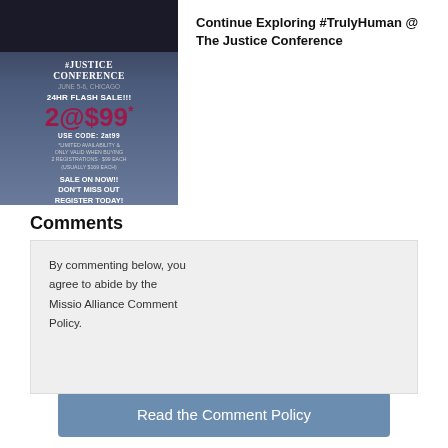[Figure (photo): Advertisement for The Justice Conference, June 5-6, Chicago. 24HR FLASH SALE!! 2@$99* USE CODE: 2at99. Limited availability & only valid when buying 2 registrations - $99 each (usually $169 each). SALE ON NOW!! DON'T MISS OUT REGISTER TODAY!]
Continue Exploring #TrulyHuman @ The Justice Conference
Comments
By commenting below, you agree to abide by the Missio Alliance Comment Policy.
Read the Comment Policy